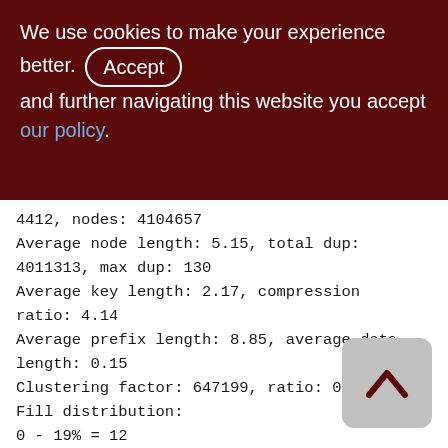We use cookies to make your experience better. By accepting and further navigating this website you accept our policy.
4412, nodes: 4104657
Average node length: 5.15, total dup: 4011313, max dup: 130
Average key length: 2.17, compression ratio: 4.14
Average prefix length: 8.85, average data length: 0.15
Clustering factor: 647199, ratio: 0.16
Fill distribution:
0 - 19% = 12
20 - 39% = 99
40 - 59% = 2354
60 - 79% = 1702